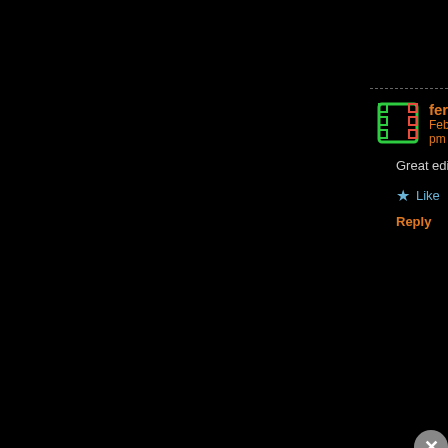reception wasn't the best.
★ Like
Reply
fernandorafael Says: February 28, 2014 at 5:15 pm
Great edition, Mark! Maybe the best one yet 🙂 Awesome in
★ Like
Reply
Mark Walker Says: March 5, 2014 at 12:48 pm
Thanks Fernando. Sorry for the late reply but I ho well with you?
★ Like
Reply
fernandorafael Says:
Advertisements
[Figure (other): Day One app advertisement banner with phone image and text 'Your Journal for life' with Day One logo]